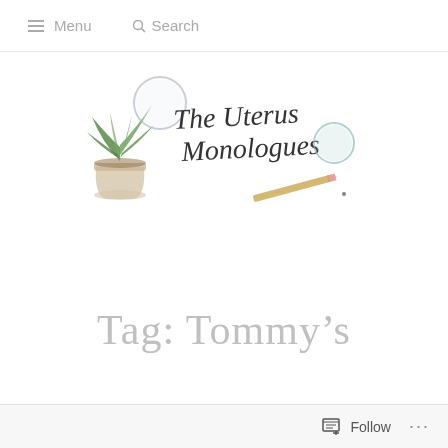Menu  Search
[Figure (logo): The Uterus Monologues blog logo featuring a potted plant illustration, a circular mirror/magnifying glass, cursive script text reading 'The Uterus Monologues', a teal/blue circle, and a pencil illustration]
Tag: Tommy's
Follow ...